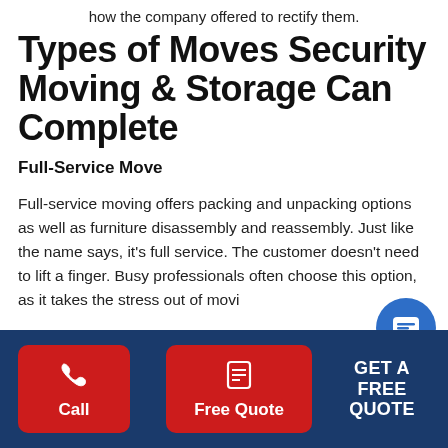how the company offered to rectify them.
Types of Moves Security Moving & Storage Can Complete
Full-Service Move
Full-service moving offers packing and unpacking options as well as furniture disassembly and reassembly. Just like the name says, it's full service. The customer doesn't need to lift a finger. Busy professionals often choose this option, as it takes the stress out of movi…
Call | Free Quote | GET A FREE QUOTE